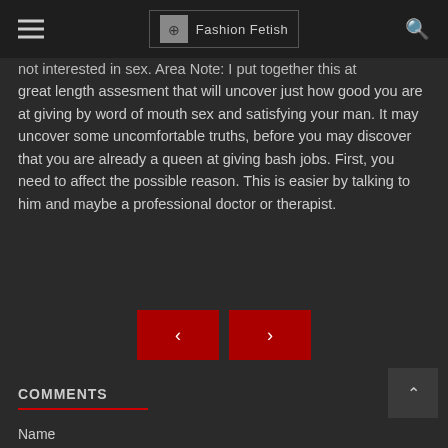Fashion Fetish
not interested in sex. Area Note: I put together this at great length assesment that will uncover just how good you are at giving by word of mouth sex and satisfying your man. It may uncover some uncomfortable truths, before you may discover that you are already a queen at giving bash jobs. First, you need to affect the possible reason. This is easier by talking to him and maybe a professional doctor or therapist.
[Figure (other): Navigation previous and next buttons (red rectangles with < and > arrows)]
COMMENTS
Name